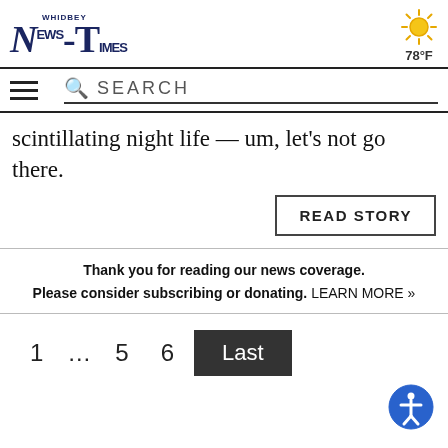Whidbey News-Times
scintillating night life — um, let's not go there.
READ STORY
Thank you for reading our news coverage. Please consider subscribing or donating. LEARN MORE »
1 ... 5 6 Last